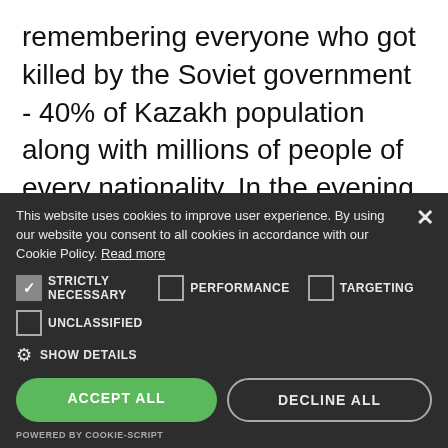remembering everyone who got killed by the Soviet government - 40% of Kazakh population along with millions of people of every nationality. In the evening, as we reflected around the table on the strengths of our great-grandparents, grandparents, and
This website uses cookies to improve user experience. By using our website you consent to all cookies in accordance with our Cookie Policy. Read more
☑ STRICTLY NECESSARY   ☐ PERFORMANCE   ☐ TARGETING
☐ UNCLASSIFIED
⚙ SHOW DETAILS
ACCEPT ALL   DECLINE ALL
POWERED BY COOKIE-SCRIPT